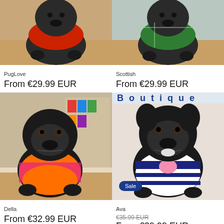[Figure (photo): Black French Bulldog wearing a red outfit, top portion visible, cropped product photo]
[Figure (photo): Black French Bulldog wearing a green outfit, top portion visible, cropped product photo]
PugLove
Scottish
From €29.99 EUR
From €29.99 EUR
[Figure (photo): Black French Bulldog wearing an orange and pink outfit, sitting on a table in a colorful shop]
[Figure (photo): Black French Bulldog wearing a navy and white striped outfit with a pink bow, with a Sale badge overlay]
Della
Ava
From €32.99 EUR
€35.99 EUR  From €29.99 EUR